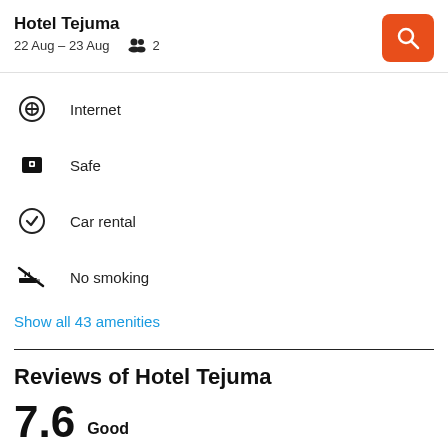Hotel Tejuma
22 Aug – 23 Aug   2
Internet
Safe
Car rental
No smoking
Show all 43 amenities
Reviews of Hotel Tejuma
7.6   Good